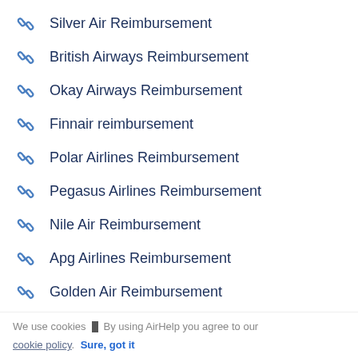Silver Air Reimbursement
British Airways Reimbursement
Okay Airways Reimbursement
Finnair reimbursement
Polar Airlines Reimbursement
Pegasus Airlines Reimbursement
Nile Air Reimbursement
Apg Airlines Reimbursement
Golden Air Reimbursement
Malaysia Airlines Reimbursement
We use cookies ▮ By using AirHelp you agree to our cookie policy. Sure, got it